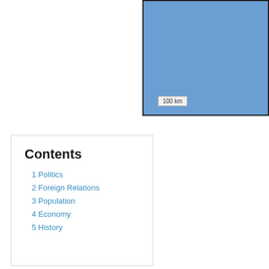[Figure (map): A map showing a region filled with blue color, with a scale bar labeled '100 km' in the lower portion. The map has a dark border.]
Contents
1 Politics
2 Foreign Relations
3 Population
4 Economy
5 History